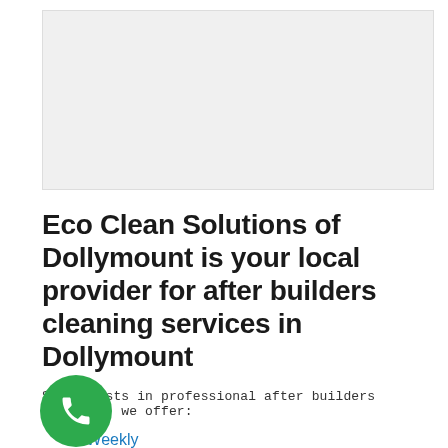[Figure (photo): Light gray placeholder image area at the top of the page]
Eco Clean Solutions of Dollymount is your local provider for after builders cleaning services in Dollymount
Specialists in professional after builders cleaning, we offer:
Weekly
Fortnightly
Monthly
End of tenancy
Builders cleans